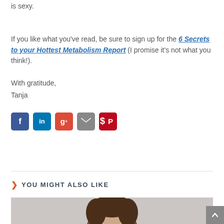is sexy.
If you like what you've read, be sure to sign up for the 6 Secrets to your Hottest Metabolism Report (I promise it's not what you think!).
With gratitude,
Tanja
[Figure (infographic): Social media sharing icons: Facebook (blue), LinkedIn (blue), Google+ (red), Email (grey), Pinterest (red)]
YOU MIGHT ALSO LIKE
[Figure (photo): Partial photo of a person with dark hair against a light background]